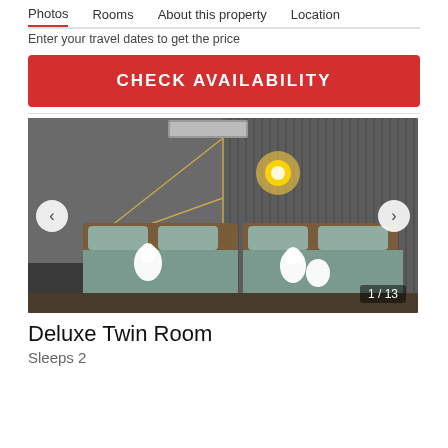Photos   Rooms   About this property   Location
Enter your travel dates to get the price
CHECK AVAILABILITY
[Figure (photo): Hotel twin room with two beds, gray accent wall with vertical paneling, gold geometric lighting design, wall-mounted air conditioner, warm pendant lamp, white towel animals on beds. Counter reads 1 / 13.]
Deluxe Twin Room
Sleeps 2